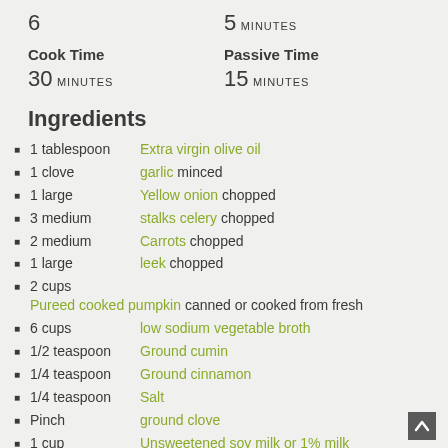6   5 MINUTES
Cook Time
30 MINUTES
Passive Time
15 MINUTES
Ingredients
1 tablespoon   Extra virgin olive oil
1 clove   garlic minced
1 large   Yellow onion chopped
3 medium   stalks celery chopped
2 medium   Carrots chopped
1 large   leek chopped
2 cups   Pureed cooked pumpkin canned or cooked from fresh
6 cups   low sodium vegetable broth
1/2 teaspoon   Ground cumin
1/4 teaspoon   Ground cinnamon
1/4 teaspoon   Salt
Pinch   ground clove
1 cup   Unsweetened soy milk or 1% milk